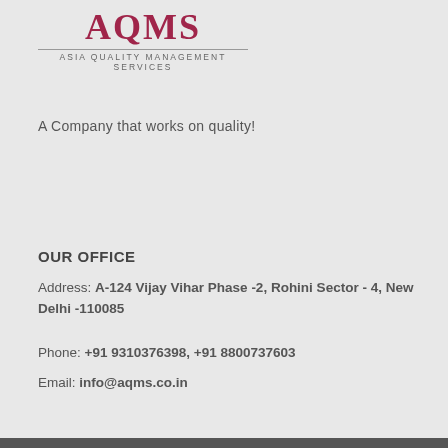[Figure (logo): AQMS - Asia Quality Management Services logo with maroon/dark red serif text and grey subtitle with top border line]
A Company that works on quality!
OUR OFFICE
Address: A-124 Vijay Vihar Phase -2, Rohini Sector - 4, New Delhi -110085
Phone: +91 9310376398, +91 8800737603
Email: info@aqms.co.in